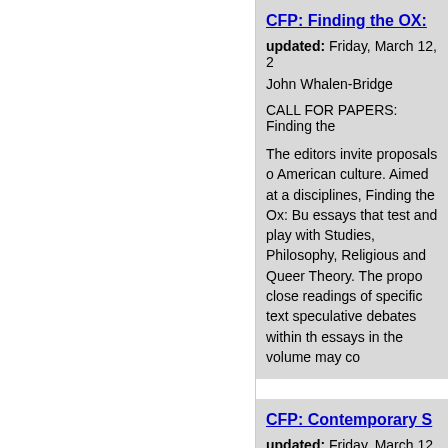CFP: Finding the OX:
updated: Friday, March 12, 2
John Whalen-Bridge
CALL FOR PAPERS: Finding the
The editors invite proposals o American culture. Aimed at a disciplines, Finding the Ox: Bu essays that test and play with Studies, Philosophy, Religious and Queer Theory. The propo close readings of specific text speculative debates within th essays in the volume may co
CFP: Contemporary S
updated: Friday, March 12, 2